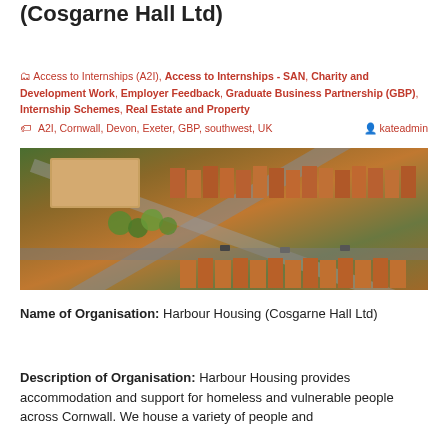(Cosgarne Hall Ltd)
Access to Internships (A2I), Access to Internships - SAN, Charity and Development Work, Employer Feedback, Graduate Business Partnership (GBP), Internship Schemes, Real Estate and Property
A2I, Cornwall, Devon, Exeter, GBP, southwest, UK  kateadmin
[Figure (photo): Aerial photograph of a residential area showing streets, rooftops with orange/terracotta tiles, green trees, and cars parked along roads, viewed from directly above at an angle.]
Name of Organisation: Harbour Housing (Cosgarne Hall Ltd)
Description of Organisation: Harbour Housing provides accommodation and support for homeless and vulnerable people across Cornwall. We house a variety of people and